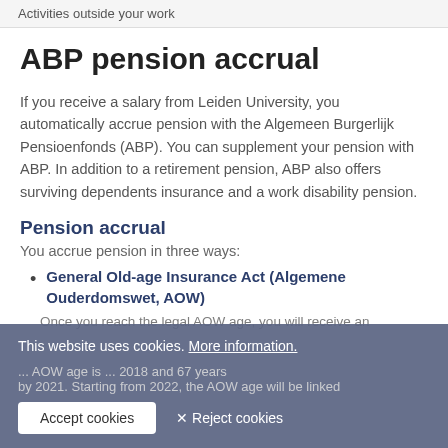Activities outside your work
ABP pension accrual
If you receive a salary from Leiden University, you automatically accrue pension with the Algemeen Burgerlijk Pensioenfonds (ABP). You can supplement your pension with ABP. In addition to a retirement pension, ABP also offers surviving dependents insurance and a work disability pension.
Pension accrual
You accrue pension in three ways:
General Old-age Insurance Act (Algemene Ouderdomswet, AOW)
Once you reach the legal AOW age, you will receive an AOW benefit. The AOW age is ... 2018 and 67 years by 2021. Starting from 2022, the AOW age will be linked...